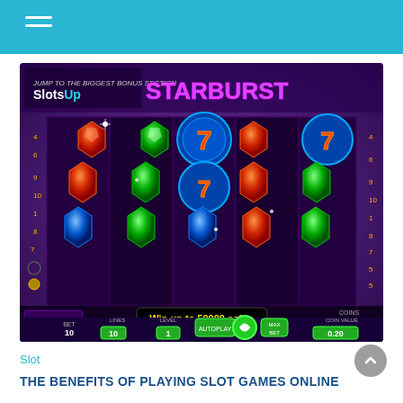[Figure (screenshot): Starburst slot game screenshot from SlotsUp showing a 5-reel slot machine with colorful gem symbols (red, green, blue) and lucky 7s. The game interface shows: BET 10, LINES 10, LEVEL 1, COIN VALUE 0.20, COINS 54000, and a banner reading 'Win up to 50000 coins'. The background is purple/violet.]
Slot
THE BENEFITS OF PLAYING SLOT GAMES ONLINE